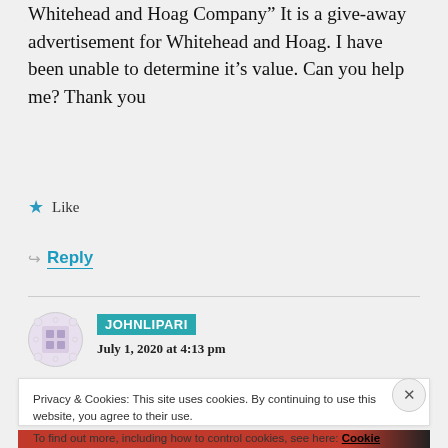Whitehead and Hoag Company” It is a give-away advertisement for Whitehead and Hoag. I have been unable to determine it’s value. Can you help me? Thank you
★ Like
↪ Reply
JOHNLIPARI
July 1, 2020 at 4:13 pm
Privacy & Cookies: This site uses cookies. By continuing to use this website, you agree to their use.
To find out more, including how to control cookies, see here: Cookie Policy
Close and accept